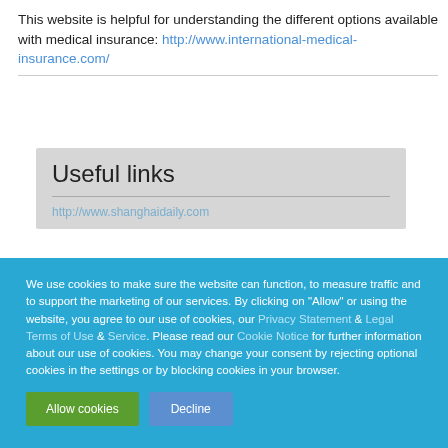This website is helpful for understanding the different options available with medical insurance: http://www.international-medical-insurance.com/
Useful links
http://www.shanghaidaily.com
We use cookies to make sure the website can function, to measure traffic and to support the marketing of our services. By clicking on "Allow" or using the website, you agree to our use of cookies, our Privacy Statement & Legal Terms of Use & Service. Please read our Cookie Notice for further information about our use of cookies. You may change your consent by rejecting optional cookies in the settings or by blocking cookies in your browser.